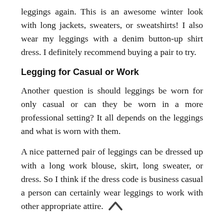leggings again. This is an awesome winter look with long jackets, sweaters, or sweatshirts! I also wear my leggings with a denim button-up shirt dress. I definitely recommend buying a pair to try.
Legging for Casual or Work
Another question is should leggings be worn for only casual or can they be worn in a more professional setting? It all depends on the leggings and what is worn with them.
A nice patterned pair of leggings can be dressed up with a long work blouse, skirt, long sweater, or dress. So I think if the dress code is business casual a person can certainly wear leggings to work with other appropriate attire.
Most of the time leggings are casual. They look great with sweatshirts, jackets, casual sweaters, and long shirts.